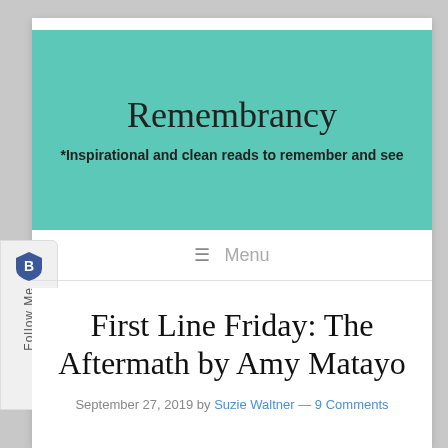Remembrancy
*Inspirational and clean reads to remember and see
≡ Menu
First Line Friday: The Aftermath by Amy Matayo
September 27, 2019 by Suzie Waltner — 9 Comments